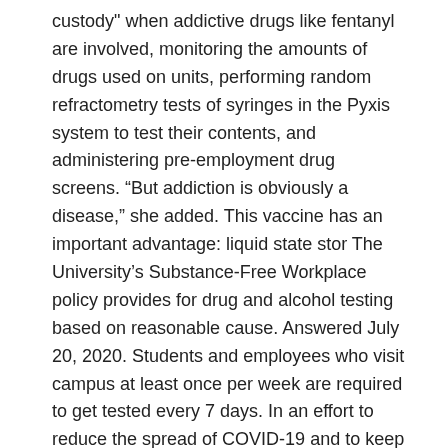custody" when addictive drugs like fentanyl are involved, monitoring the amounts of drugs used on units, performing random refractometry tests of syringes in the Pyxis system to test their contents, and administering pre-employment drug screens. “But addiction is obviously a disease,” she added. This vaccine has an important advantage: liquid state stor The University’s Substance-Free Workplace policy provides for drug and alcohol testing based on reasonable cause. Answered July 20, 2020. Students and employees who visit campus at least once per week are required to get tested every 7 days. In an effort to reduce the spread of COVID-19 and to keep our patients and staff safe, visitors are allowed under limited conditions. … a clinical dietitian who specializes in gastrointestinal disorders at UC San Diego Health. The vaccine candidates must pass three phases of human testing to ensure safety and efficacy in preventing the disease. Mandatory drug